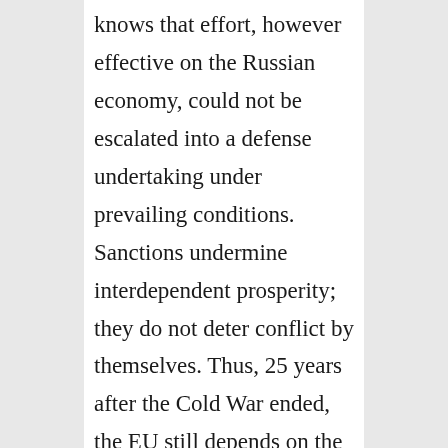knows that effort, however effective on the Russian economy, could not be escalated into a defense undertaking under prevailing conditions. Sanctions undermine interdependent prosperity; they do not deter conflict by themselves. Thus, 25 years after the Cold War ended, the EU still depends on the United States to uphold the strategic